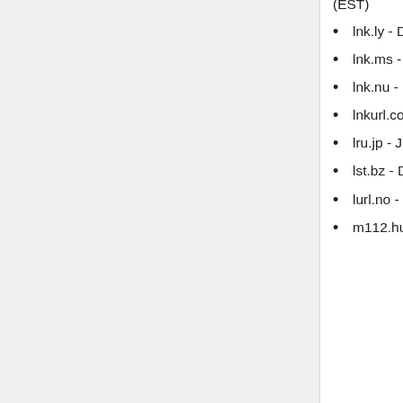been overused, or the reseller ran out of resources." as of 17:51, 12 December 2015 (EST)
lnk.ly - DNS not resolving as of 01:09, 7 December 2015 (EST)
lnk.ms - Server not responding as of 16:36, 12 December 2015 (EST)
lnk.nu - parking page as of 01:53, 9 December 2015 (EST)
lnkurl.com - Website empty as of 00:53, 14 March 2016 (EDT)
lru.jp - Just shows a login form as of 00:53, 14 March 2016 (EDT)
lst.bz - DNS not responding as of 15:48, 15 May 2016 (EDT)
lurl.no - Server doesn't respond as of 00:53, 14 March 2016 (EDT)
m112.hu - Link creation (and website) appears to be broken as of